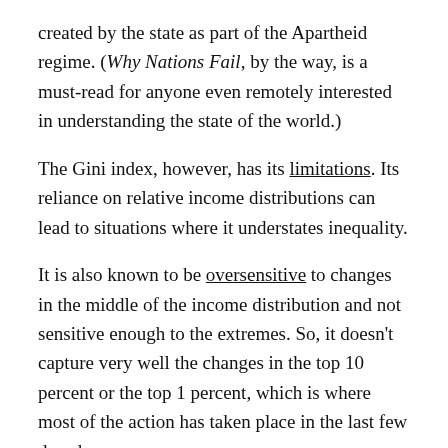created by the state as part of the Apartheid regime. (Why Nations Fail, by the way, is a must-read for anyone even remotely interested in understanding the state of the world.)
The Gini index, however, has its limitations. Its reliance on relative income distributions can lead to situations where it understates inequality.
It is also known to be oversensitive to changes in the middle of the income distribution and not sensitive enough to the extremes. So, it doesn't capture very well the changes in the top 10 percent or the top 1 percent, which is where most of the action has taken place in the last few decades.
Palma Ratio